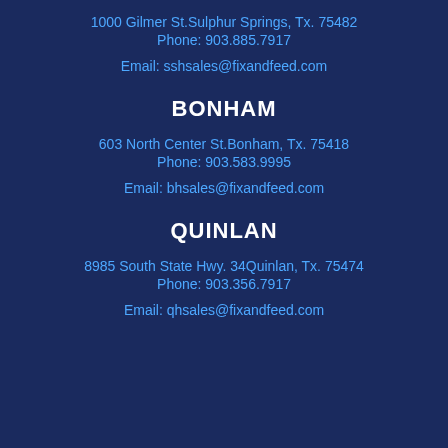1000 Gilmer St.Sulphur Springs, Tx. 75482
Phone: 903.885.7917
Email: sshsales@fixandfeed.com
BONHAM
603 North Center St.Bonham, Tx. 75418
Phone: 903.583.9995
Email: bhsales@fixandfeed.com
QUINLAN
8985 South State Hwy. 34Quinlan, Tx. 75474
Phone: 903.356.7917
Email: qhsales@fixandfeed.com